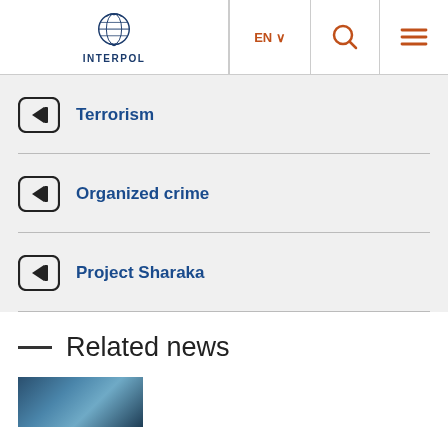INTERPOL | EN | Search | Menu
Terrorism
Organized crime
Project Sharaka
Related news